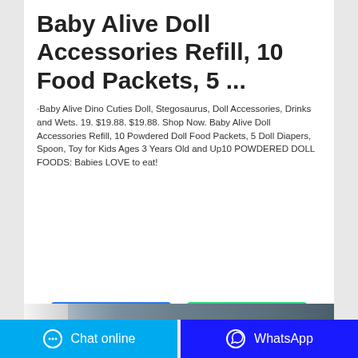Baby Alive Doll Accessories Refill, 10 Food Packets, 5 ...
·Baby Alive Dino Cuties Doll, Stegosaurus, Doll Accessories, Drinks and Wets. 19. $19.88. $19.88. Shop Now. Baby Alive Doll Accessories Refill, 10 Powdered Doll Food Packets, 5 Doll Diapers, Spoon, Toy for Kids Ages 3 Years Old and Up10 POWDERED DOLL FOODS: Babies LOVE to eat!
[Figure (other): Get price button (blue) and WhatsApp button (green)]
[Figure (photo): Product image showing packaging, partially visible, grey/blue tones]
Chat online   WhatsApp